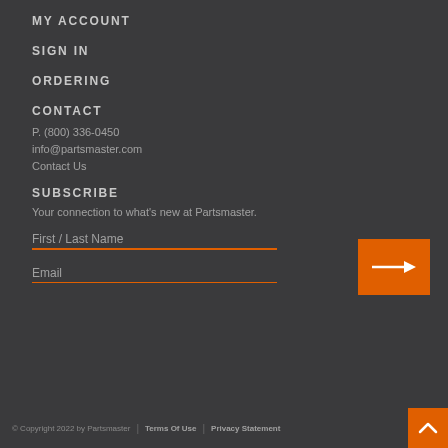MY ACCOUNT
SIGN IN
ORDERING
CONTACT
P. (800) 336-0450
info@partsmaster.com
Contact Us
SUBSCRIBE
Your connection to what's new at Partsmaster.
First / Last Name
Email
© Copyright 2022 by Partsmaster | Terms Of Use | Privacy Statement